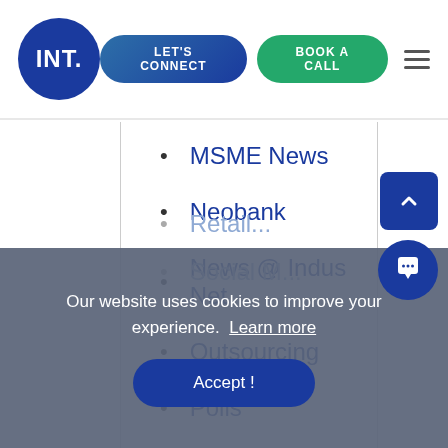INT. | LET'S CONNECT | BOOK A CALL
MSME News
Neobank
News @ Indus Net
Outsourcing
Polls
PPC
Productivity
Retail...
Social M...
Our website uses cookies to improve your experience. Learn more
Accept !